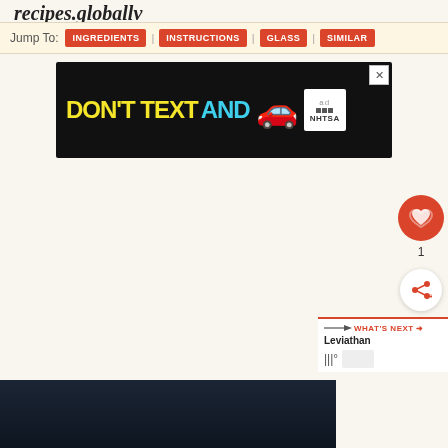recipes.globallv
Jump To: INGREDIENTS | INSTRUCTIONS | GLASS | SIMILAR
[Figure (screenshot): Advertisement banner: 'DON'T TEXT AND [car emoji]' with NHTSA/ad badge and close button X on black background]
[Figure (other): Red circular like/favorite button with heart icon and count of 1, plus a white share button below]
[Figure (other): WHAT'S NEXT arrow panel with text 'Leviathan' and a weather widget showing temperature]
[Figure (photo): Dark blue/black background image at the bottom of the page, appears to be a night sky or dark scene]